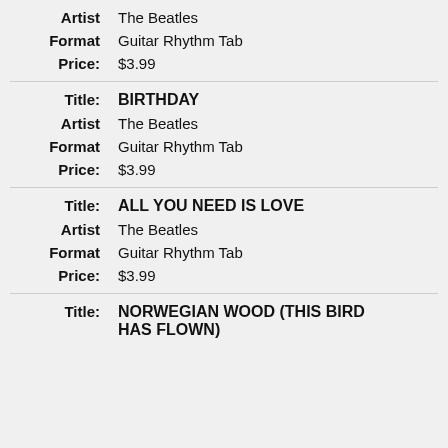Artist: The Beatles | Format: Guitar Rhythm Tab | Price: $3.99
Title: BIRTHDAY | Artist: The Beatles | Format: Guitar Rhythm Tab | Price: $3.99
Title: ALL YOU NEED IS LOVE | Artist: The Beatles | Format: Guitar Rhythm Tab | Price: $3.99
Title: NORWEGIAN WOOD (THIS BIRD HAS FLOWN)